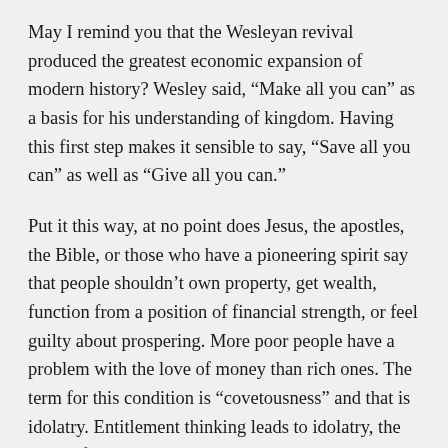May I remind you that the Wesleyan revival produced the greatest economic expansion of modern history? Wesley said, “Make all you can” as a basis for his understanding of kingdom. Having this first step makes it sensible to say, “Save all you can” as well as “Give all you can.”
Put it this way, at no point does Jesus, the apostles, the Bible, or those who have a pioneering spirit say that people shouldn’t own property, get wealth, function from a position of financial strength, or feel guilty about prospering. More poor people have a problem with the love of money than rich ones. The term for this condition is “covetousness” and that is idolatry. Entitlement thinking leads to idolatry, the snare of hell that entraps people into thinking that